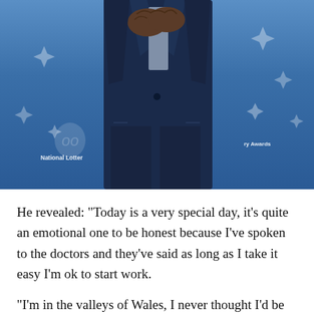[Figure (photo): A man in a dark navy blue suit standing in front of a National Lottery branded blue banner background with white star/diamond decorative elements. His hands are clasped together in front of his chest.]
He revealed: "Today is a very special day, it's quite an emotional one to be honest because I've spoken to the doctors and they've said as long as I take it easy I'm ok to start work.
"I'm in the valleys of Wales, I never thought I'd be so